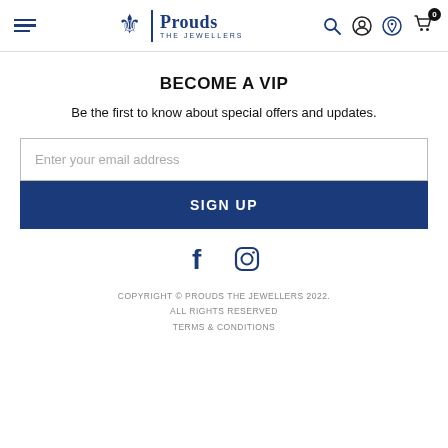Prouds The Jewellers - navigation header with hamburger menu, logo, search, account, location, and cart icons
BECOME A VIP
Be the first to know about special offers and updates.
[Figure (screenshot): Email input field with placeholder 'Enter your email address' and a blue SIGN UP button below]
[Figure (infographic): Facebook and Instagram social media icons in blue]
COPYRIGHT © PROUDS THE JEWELLERS 2022. ALL RIGHTS RESERVED TERMS & CONDITIONS